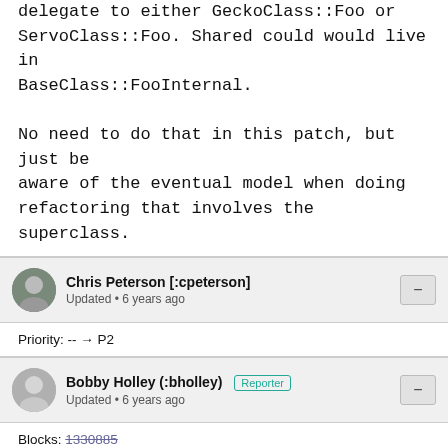delegate to either GeckoClass::Foo or ServoClass::Foo. Shared could would live in BaseClass::FooInternal.

No need to do that in this patch, but just be aware of the eventual model when doing refactoring that involves the superclass.
Chris Peterson [:cpeterson]
Updated • 6 years ago
Priority: -- → P2
Bobby Holley (:bholley) [Reporter]
Updated • 6 years ago
Blocks: 1330885
Bobby Holley (:bholley) [Reporter]
Comment 3 • 6 years ago
Cameron was going to look at this.